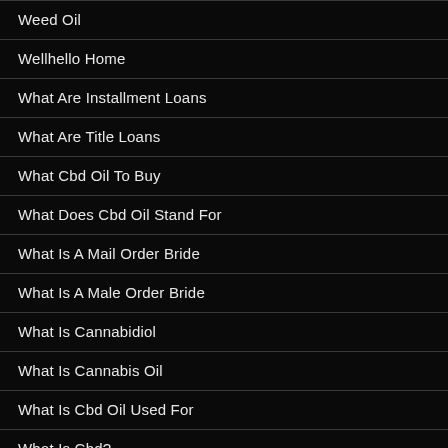Weed Oil
Wellhello Home
What Are Installment Loans
What Are Title Loans
What Cbd Oil To Buy
What Does Cbd Oil Stand For
What Is A Mail Order Bride
What Is A Male Order Bride
What Is Cannabidiol
What Is Cannabis Oil
What Is Cbd Oil Used For
What Is Cbd?